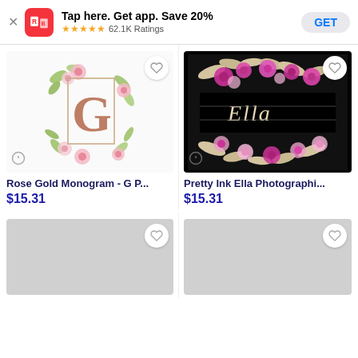Tap here. Get app. Save 20% ★★★★★ 62.1K Ratings GET
[Figure (photo): Rose Gold Monogram - G with floral watercolor design on white background]
[Figure (photo): Pretty Ink Ella Photographic print - black background with floral design and cursive Ella text]
Rose Gold Monogram - G P...
$15.31
Pretty Ink Ella Photographi...
$15.31
[Figure (photo): Loading placeholder - gray rectangle with heart button]
[Figure (photo): Loading placeholder - gray rectangle with heart button]